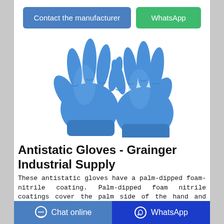[Figure (other): Two blue nitrile antistatic gloves displayed against white background]
Antistatic Gloves - Grainger Industrial Supply
These antistatic gloves have a palm-dipped foam-nitrile coating. Palm-dipped foam nitrile coatings cover the palm side of the hand and fingers. Foam nitrile has a cushioned base with a tacky surface to provide a good grip. It has better flexibility and
Chat online  WhatsApp